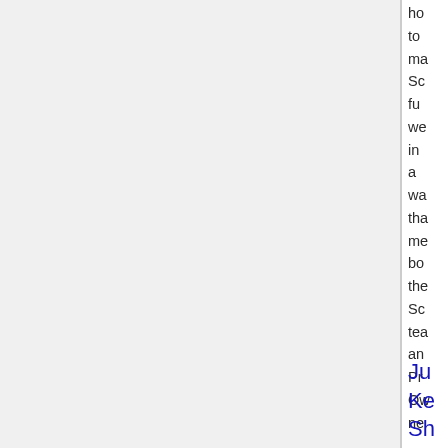ho to ma Sc fu we in a wa tha me bo the Sc tea an Pr Ow ne
Ju Ke Sh ca